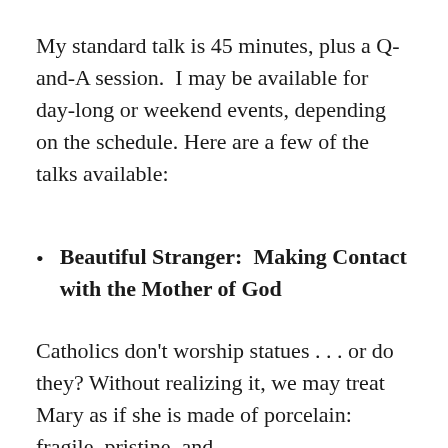My standard talk is 45 minutes, plus a Q-and-A session.  I may be available for day-long or weekend events, depending on the schedule.  Here are a few of the talks available:
Beautiful Stranger:  Making Contact with the Mother of God
Catholics don’t worship statues . . . or do they? Without realizing it, we may treat Mary as if she is made of porcelain:  fragile, pristine, and